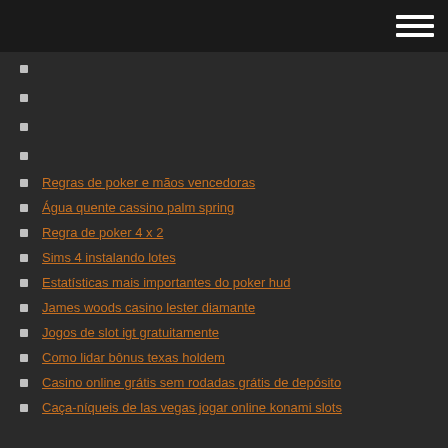Regras de poker e mãos vencedoras
Água quente cassino palm spring
Regra de poker 4 x 2
Sims 4 instalando lotes
Estatísticas mais importantes do poker hud
James woods casino lester diamante
Jogos de slot igt gratuitamente
Como lidar bônus texas holdem
Casino online grátis sem rodadas grátis de depósito
Caça-níqueis de las vegas jogar online konami slots